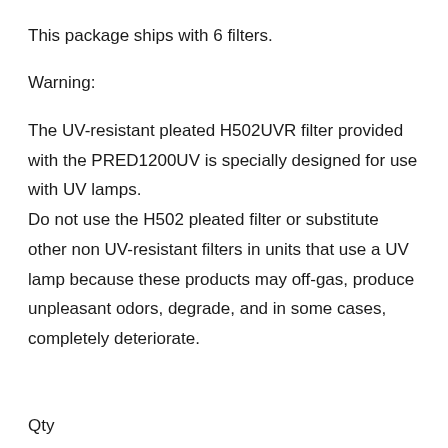This package ships with 6 filters.
Warning:
The UV-resistant pleated H502UVR filter provided with the PRED1200UV is specially designed for use with UV lamps.
Do not use the H502 pleated filter or substitute other non UV-resistant filters in units that use a UV lamp because these products may off-gas, produce unpleasant odors, degrade, and in some cases, completely deteriorate.
Qty